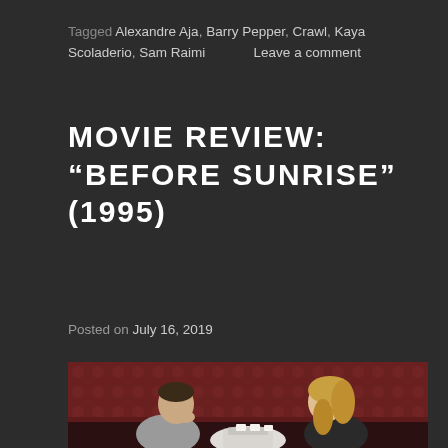Tagged Alexandre Aja, Barry Pepper, Crawl, Kaya Scoladerio, Sam Raimi      Leave a comment
MOVIE REVIEW: “BEFORE SUNRISE” (1995)
Posted on July 16, 2019
[Figure (photo): Two people sitting across from each other at a small round table in a cafe with red patterned booth seating. A young man in a grey t-shirt on the left leans forward with his chin resting on his hand, and a young woman with long blonde hair on the right sits across from him. Coffee cups and a tray are on the table.]